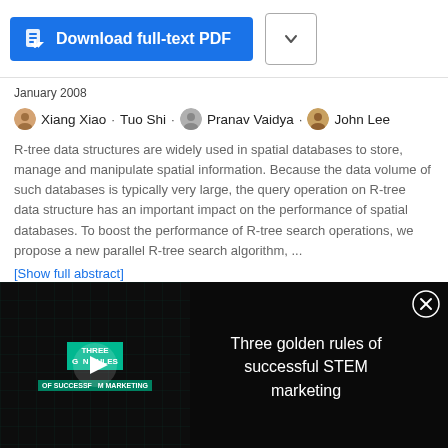[Figure (screenshot): Blue Download full-text PDF button with document icon, and a chevron dropdown box]
January 2008
Xiang Xiao · Tuo Shi · Pranav Vaidya · John Lee
R-tree data structures are widely used in spatial databases to store, manage and manipulate spatial information. Because the data volume of such databases is typically very large, the query operation on R-tree data structure has an important impact on the performance of spatial databases. To boost the performance of R-tree search operations, we propose a new parallel R-tree search algorithm, ...
[Show full abstract]
[Figure (screenshot): Video overlay on dark background showing 'THREE GOLDEN RULES OF SUCCESSFUL STEM MARKETING' with play button thumbnail on left and text 'Three golden rules of successful STEM marketing' on right with close button]
[Figure (screenshot): ThermoFisher Scientific advertisement with thumbnail image and title '2D vs 3D PSC expansion and neural differentiations']